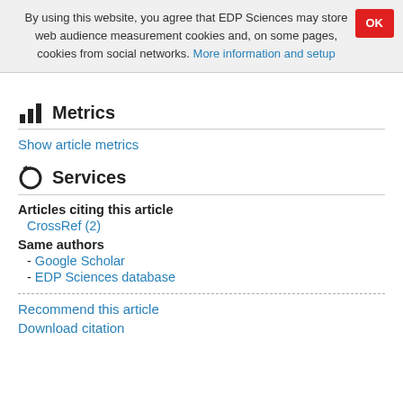By using this website, you agree that EDP Sciences may store web audience measurement cookies and, on some pages, cookies from social networks. More information and setup
Metrics
Show article metrics
Services
Articles citing this article
CrossRef (2)
Same authors
- Google Scholar
- EDP Sciences database
Recommend this article
Download citation